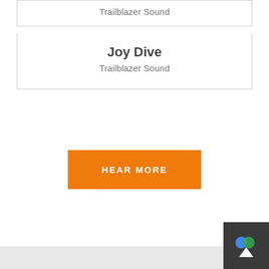Trailblazer Sound
Joy Dive
Trailblazer Sound
HEAR MORE